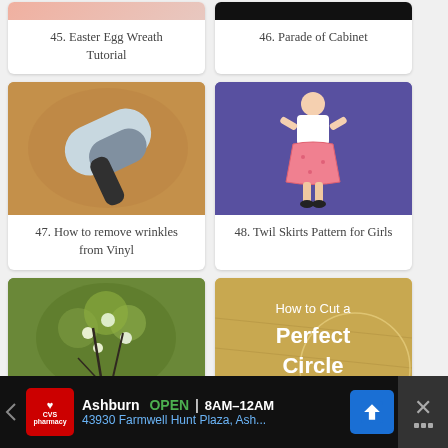[Figure (photo): Partial view of Easter Egg Wreath craft project]
45. Easter Egg Wreath Tutorial
[Figure (photo): Dark image of Parade of Cabinet]
46. Parade of Cabinet
[Figure (photo): Hair dryer on brown carpet surface]
47. How to remove wrinkles from Vinyl
[Figure (photo): Girl wearing pink floral twirl skirt on bed with purple background]
48. Twil Skirts Pattern for Girls
[Figure (photo): Green floral arrangement with white flowers and dark branches]
[Figure (photo): How to Cut a Perfect Circle text overlay on wood background]
[Figure (infographic): CVS Pharmacy advertisement banner: Ashburn OPEN 8AM–12AM, 43930 Farmwell Hunt Plaza, Ash...]